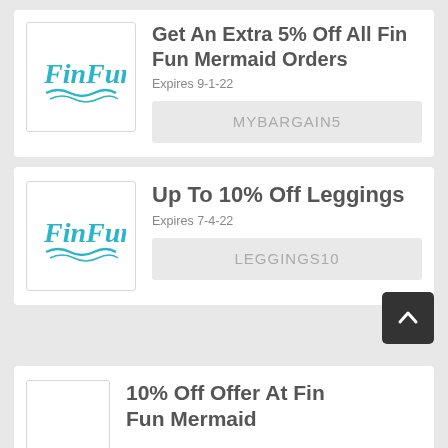[Figure (logo): Fin Fun logo — teal cursive text with wave underline]
Get An Extra 5% Off All Fin Fun Mermaid Orders
Expires 9-1-22
MYBARGAIN5
[Figure (logo): Fin Fun logo — teal cursive text with wave underline]
Up To 10% Off Leggings
Expires 7-4-22
LEGGINGS10
[Figure (logo): Fin Fun logo — teal cursive text with wave underline (partially visible)]
10% Off Offer At Fin Fun Mermaid